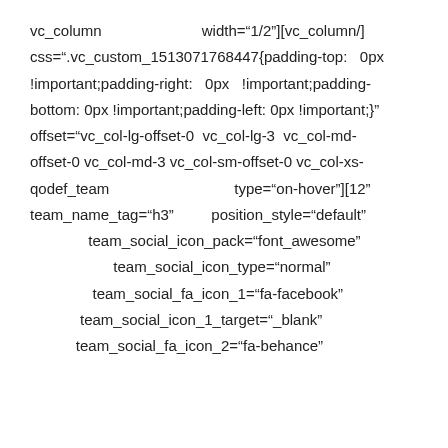vc_column                        width="1/2"][vc_column/] css=".vc_custom_1513071768447{padding-top:   0px !important;padding-right:   0px   !important;padding-bottom: 0px !important;padding-left: 0px !important;}" offset="vc_col-lg-offset-0  vc_col-lg-3  vc_col-md-offset-0 vc_col-md-3 vc_col-sm-offset-0 vc_col-xs- qodef_team                              type="on-hover"][12" team_name_tag="h3"         position_style="default"               team_social_icon_pack="font_awesome"                    team_social_icon_type="normal"               team_social_fa_icon_1="fa-facebook"            team_social_icon_1_target="_blank"           team_social_fa_icon_2="fa-behance"